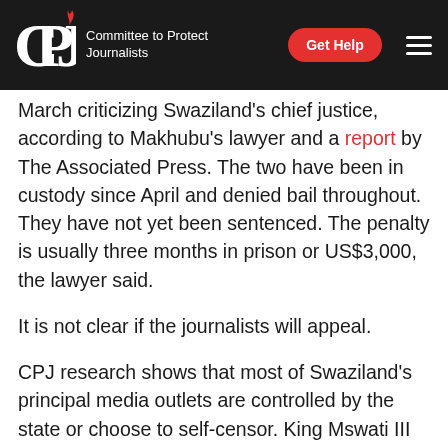CPJ — Committee to Protect Journalists | Get Help
March criticizing Swaziland's chief justice, according to Makhubu's lawyer and a report by The Associated Press. The two have been in custody since April and denied bail throughout. They have not yet been sentenced. The penalty is usually three months in prison or US$3,000, the lawyer said.
It is not clear if the journalists will appeal.
CPJ research shows that most of Swaziland's principal media outlets are controlled by the state or choose to self-censor. King Mswati III owns one of the two daily newspapers and employs the editor of the other as an adviser. Media freedom advocates